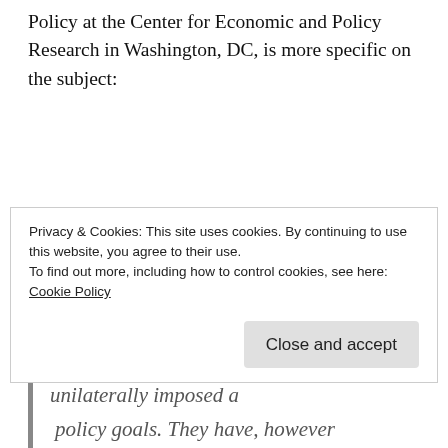Policy at the Center for Economic and Policy Research in Washington, DC, is more specific on the subject:
But one particularly brutal set of White House measures that has already caused tens of thousands of casualties abroad has been ignored by most of Trump's critics. Since taking office, the president has unilaterally imposed a
Privacy & Cookies: This site uses cookies. By continuing to use this website, you agree to their use.
To find out more, including how to control cookies, see here: Cookie Policy
Close and accept
policy goals. They have, however